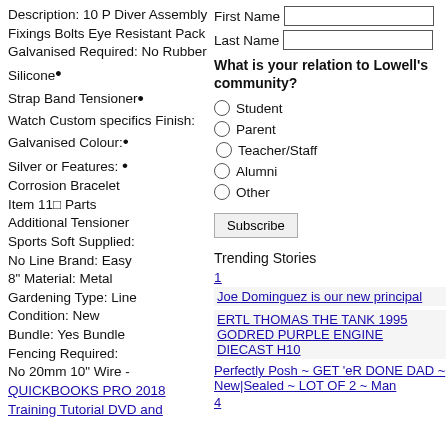Description: 10 P Diver Assembly Fixings Bolts Eye Resistant Pack Galvanised Required: No Rubber Silicone Strap Band Tensioner Watch Custom specifics Finish: Galvanised Colour: Silver or Features: Corrosion Bracelet Item 11□ Parts Additional Tensioner Sports Soft Supplied: No Line Brand: Easy 8" Material: Metal Gardening Type: Line Condition: New Bundle: Yes Bundle Fencing Required: No 20mm 10" Wire -
QUICKBOOKS PRO 2018 Training Tutorial DVD and
First Name
Last Name
What is your relation to Lowell's community?
Student
Parent
Teacher/Staff
Alumni
Other
Subscribe
Trending Stories
1
Joe Dominguez is our new principal
ERTL THOMAS THE TANK 1995 GODRED PURPLE ENGINE DIECAST H10
Perfectly Posh ~ GET 'eR DONE DAD ~ New|Sealed ~ LOT OF 2 ~ Man
4